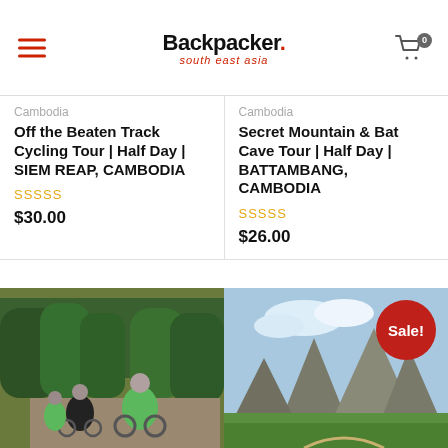Backpacker. south east asia
Cambodia
Off the Beaten Track Cycling Tour | Half Day | SIEM REAP, CAMBODIA
SSSSS
$30.00
Cambodia
Secret Mountain & Bat Cave Tour | Half Day | BATTAMBANG, CAMBODIA
SSSSS
$26.00
[Figure (photo): Cyclists on a road surrounded by green trees in Cambodia]
[Figure (photo): Mountain karst landscape with green fields in Cambodia, Sale! badge overlay]